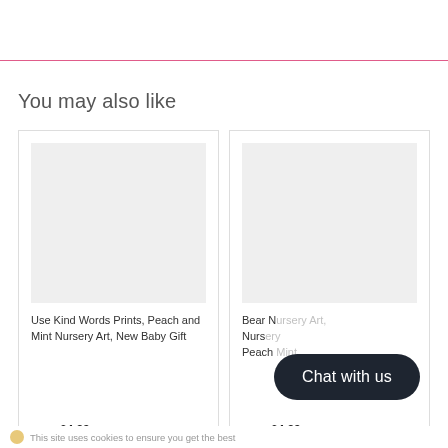You may also like
[Figure (photo): Product image placeholder for Use Kind Words Prints]
Use Kind Words Prints, Peach and Mint Nursery Art, New Baby Gift
From £4.99
[Figure (photo): Product image placeholder for Bear Nursery print]
Bear Nursery Art, Peach Mint...
From £4.99
Chat with us
This site uses cookies to ensure you get the best